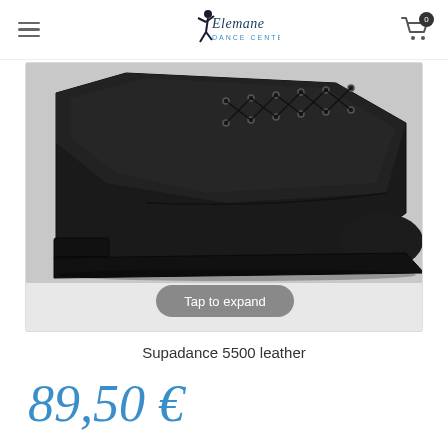Elemane Dance Center — navigation header with hamburger menu and cart icon
[Figure (photo): Close-up photo of a black leather lace-up dance shoe (Supadance 5500) with a low heel, shown from a side-front angle on a white background. A 'Tap to expand' overlay pill is visible at the bottom center of the image.]
Supadance 5500 leather
89,50 €